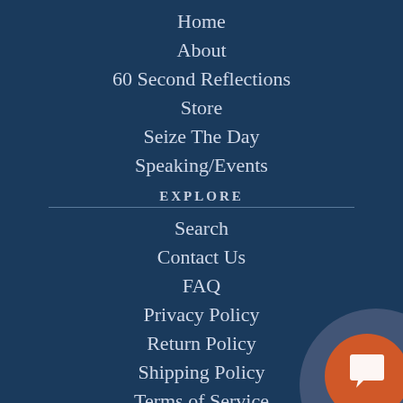Home
About
60 Second Reflections
Store
Seize The Day
Speaking/Events
EXPLORE
Search
Contact Us
FAQ
Privacy Policy
Return Policy
Shipping Policy
Terms of Service
[Figure (illustration): Chat bubble icon: a dark blue circle overlapping with an orange circle containing a white speech bubble/chat icon in the bottom-right corner]